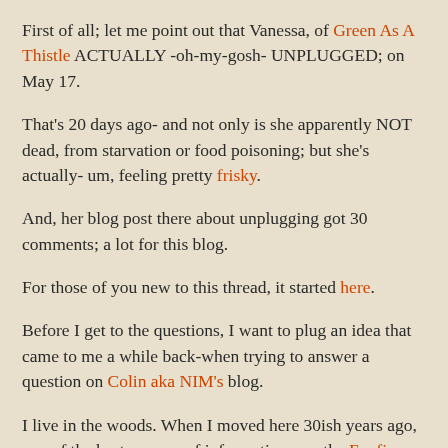First of all; let me point out that Vanessa, of Green As A Thistle ACTUALLY -oh-my-gosh- UNPLUGGED; on May 17.
That's 20 days ago- and not only is she apparently NOT dead, from starvation or food poisoning; but she's actually- um, feeling pretty frisky.
And, her blog post there about unplugging got 30 comments; a lot for this blog.
For those of you new to this thread, it started here.
Before I get to the questions, I want to plug an idea that came to me a while back-when trying to answer a question on Colin aka NIM's blog.
I live in the woods. When I moved here 30ish years ago, one of the best sources of information was the Foxfire Books . By far. Multiple stories from old-timers who'd DONE what they were talking about, for years. Much of the construction of the Little House came right out of Foxfire One. It was